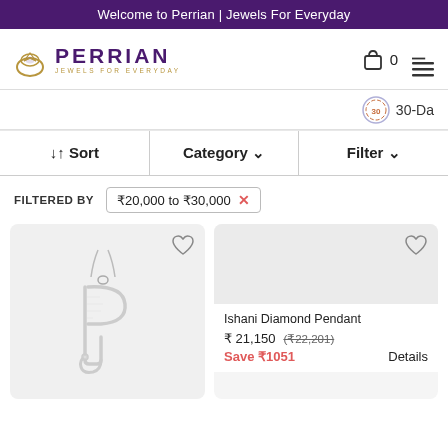Welcome to Perrian | Jewels For Everyday
[Figure (logo): Perrian Jewels For Everyday logo with ring icon]
0
30-Da
↓↑ Sort   Category ∨   Filter ∨
FILTERED BY  ₹20,000 to ₹30,000 ×
[Figure (photo): P-shaped diamond pendant on chain]
Ishani Diamond Pendant
₹ 21,150  (₹22,201)
Save ₹ 1051   Details